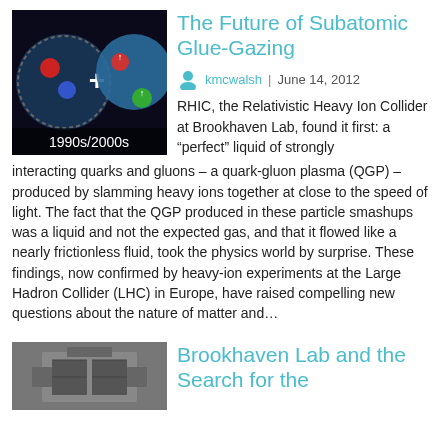[Figure (illustration): Scientific illustration showing particle physics concept with colored spheres and plus sign on dark background, labeled '1990s/2000s']
The Future of Subatomic Glue-Gazing
kmcwalsh | June 14, 2012
RHIC, the Relativistic Heavy Ion Collider at Brookhaven Lab, found it first: a “perfect” liquid of strongly interacting quarks and gluons – a quark-gluon plasma (QGP) – produced by slamming heavy ions together at close to the speed of light. The fact that the QGP produced in these particle smashups was a liquid and not the expected gas, and that it flowed like a nearly frictionless fluid, took the physics world by surprise. These findings, now confirmed by heavy-ion experiments at the Large Hadron Collider (LHC) in Europe, have raised compelling new questions about the nature of matter and…
[Figure (photo): Aerial/overhead photo of large scientific facility, likely particle accelerator or detector]
Brookhaven Lab and the Search for the